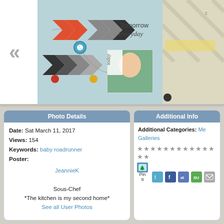[Figure (screenshot): Scrapbook page screenshot showing chevron arrows in red, black and gray pointing right, with text 'Tomorrow Everyday' and 'today' label on a portrait photo, on light blue background]
| Date: | Sat March 11, 2017 |
| Views: | 154 |
| Keywords: | baby roadrunner |
| Poster: | JeannieK |
Sous-Chef
*The kitchen is my second home*
See all User Photos
Registered: November 2013
Location: New Mexico
Posts: 343
Additional Info
Additional Categories: Me Galleries
[Figure (infographic): Row of gray star rating icons followed by Pin It button and social sharing icons (Twitter, Facebook, Digg, StumbleUpon, Email)]